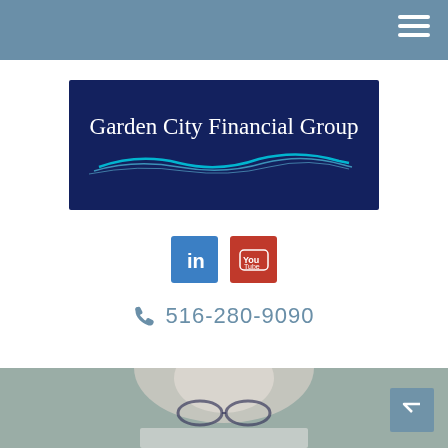[Figure (logo): Garden City Financial Group logo — dark navy blue rectangle with white serif text reading 'Garden City Financial Group' and a cyan/blue wave graphic beneath the text]
[Figure (other): Social media icons: LinkedIn (blue square with 'in') and YouTube (red square with play icon)]
516-280-9090
[Figure (photo): Photo of a blonde woman with short hair wearing glasses, looking down, in an office setting]